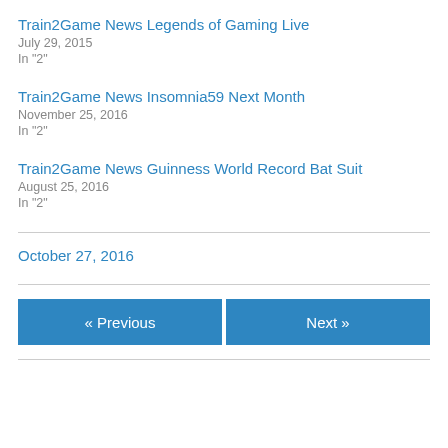Train2Game News Legends of Gaming Live
July 29, 2015
In "2"
Train2Game News Insomnia59 Next Month
November 25, 2016
In "2"
Train2Game News Guinness World Record Bat Suit
August 25, 2016
In "2"
October 27, 2016
« Previous
Next »